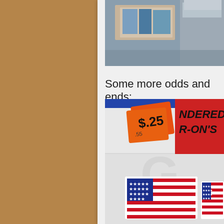[Figure (photo): Top portion showing boxes or items in a storage/shop setting with blue and cardboard tones]
Some more odds and ends:
[Figure (photo): Photo of items on a white surface: orange price tags showing .25 cents, a sign reading 'NDERED R-ON'S' in bold text on red/white, and two small embroidered American flag patches at the bottom]